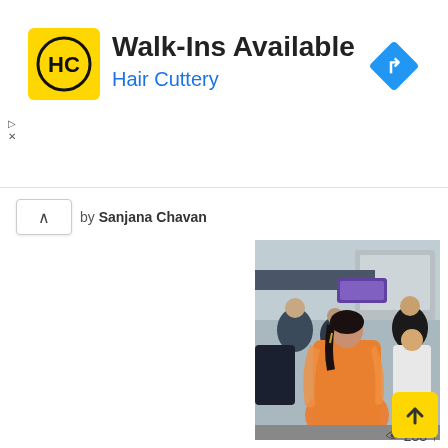[Figure (screenshot): Hair Cuttery advertisement banner with logo (HC in yellow square), text 'Walk-Ins Available' and 'Hair Cuttery' in blue, and a blue navigation/direction diamond icon on the right]
by Sanjana Chavan
[Figure (photo): Woman in orange kurta/anarkali outfit standing outdoors surrounded by crowd and security personnel]
233